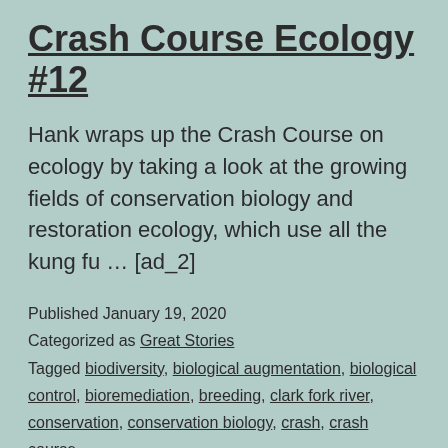Crash Course Ecology #12
Hank wraps up the Crash Course on ecology by taking a look at the growing fields of conservation biology and restoration ecology, which use all the kung fu … [ad_2]
Published January 19, 2020
Categorized as Great Stories
Tagged biodiversity, biological augmentation, biological control, bioremediation, breeding, clark fork river, conservation, conservation biology, crash, crash course, crashcourse, decline, diversity, earth, Ecology, ecosystem